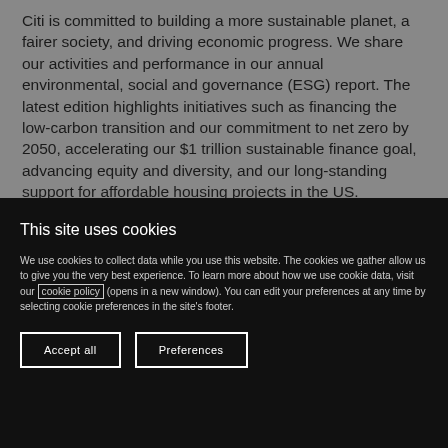Citi is committed to building a more sustainable planet, a fairer society, and driving economic progress. We share our activities and performance in our annual environmental, social and governance (ESG) report. The latest edition highlights initiatives such as financing the low-carbon transition and our commitment to net zero by 2050, accelerating our $1 trillion sustainable finance goal, advancing equity and diversity, and our long-standing support for affordable housing projects in the US.
This site uses cookies
We use cookies to collect data while you use this website. The cookies we gather allow us to give you the very best experience. To learn more about how we use cookie data, visit our cookie policy (opens in a new window). You can edit your preferences at any time by selecting cookie preferences in the site's footer.